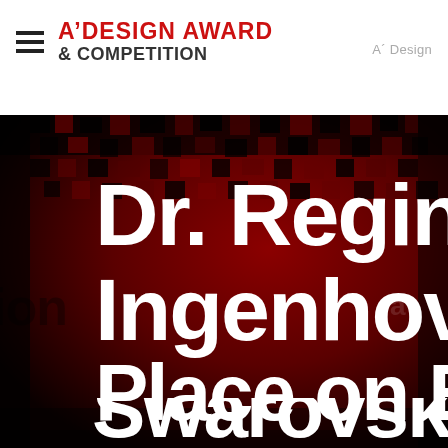A' DESIGN AWARD & COMPETITION   A´ Design
[Figure (photo): Dark red pixelated/mosaic background image with large white bold text overlaid reading: Dr. Regina Ingenhove Place on E... Swarovski]
Dr. Regina Ingenhove Place on E... Swarovski